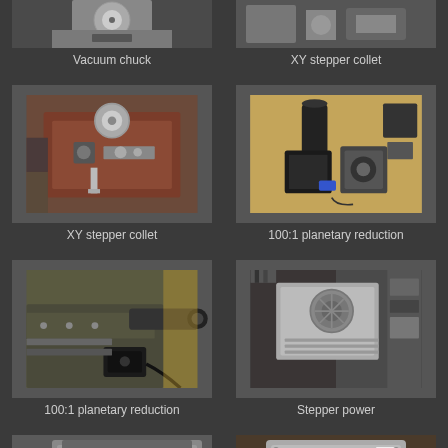[Figure (photo): Partial view of vacuum chuck mechanical component - top of image cut off]
Vacuum chuck
[Figure (photo): Partial view of XY stepper collet - top of image cut off]
XY stepper collet
[Figure (photo): XY stepper collet - brown/maroon colored mechanical device with cylindrical components and adjustment screws]
XY stepper collet
[Figure (photo): 100:1 planetary reduction - black cylindrical components and motor on a workbench with electronic parts]
100:1 planetary reduction
[Figure (photo): 100:1 planetary reduction - close-up of motor and cable assembly on a machine]
100:1 planetary reduction
[Figure (photo): Stepper power supply - silver metal box with fan grill and ventilation slots mounted in equipment rack]
Stepper power
[Figure (photo): Bottom partial view of electronic enclosure with connectors being assembled]
[Figure (photo): Bottom partial view of control box with two large black push buttons]